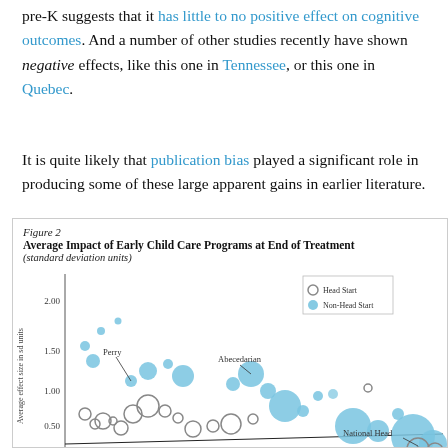pre-K suggests that it has little to no positive effect on cognitive outcomes. And a number of other studies recently have shown negative effects, like this one in Tennessee, or this one in Quebec.
It is quite likely that publication bias played a significant role in producing some of these large apparent gains in earlier literature.
[Figure (scatter-plot): Scatter plot showing average effect size in sd units vs study characteristics, with Head Start (open circles) and Non-Head Start (filled blue circles) series. Points include Perry and Abecedarian labels. A trend line runs slightly upward. National Head Start annotation visible.]